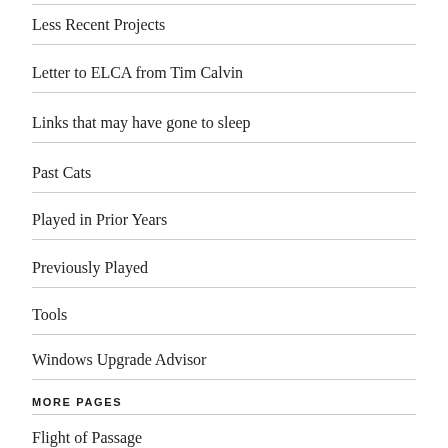Less Recent Projects
Letter to ELCA from Tim Calvin
Links that may have gone to sleep
Past Cats
Played in Prior Years
Previously Played
Tools
Windows Upgrade Advisor
MORE PAGES
Flight of Passage